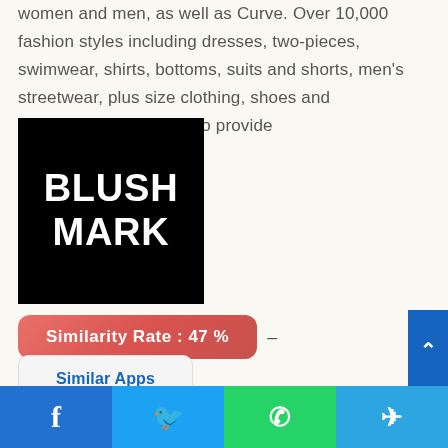women and men, as well as Curve. Over 10,000 fashion styles including dresses, two-pieces, swimwear, shirts, bottoms, suits and shorts, men's streetwear, plus size clothing, shoes and accessories. We strive to provide
[Figure (logo): Blush Mark logo — white bold text 'BLUSH MARK' on black square background]
Similarity Rate : 47 % –
Similar Apps
Facebook | Twitter | WhatsApp | Telegram social share bar